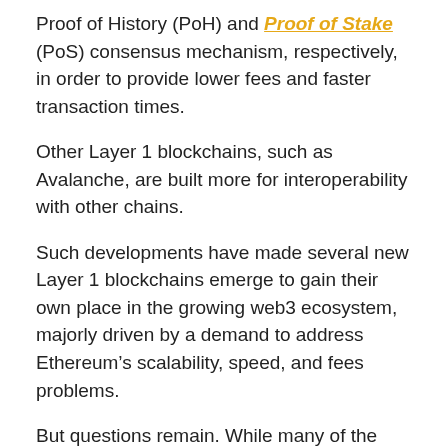Proof of History (PoH) and Proof of Stake (PoS) consensus mechanism, respectively, in order to provide lower fees and faster transaction times.
Other Layer 1 blockchains, such as Avalanche, are built more for interoperability with other chains.
Such developments have made several new Layer 1 blockchains emerge to gain their own place in the growing web3 ecosystem, majorly driven by a demand to address Ethereum’s scalability, speed, and fees problems.
But questions remain. While many of the new Layer 1 blockchains have attracted significant investment and user bases, will any of them surpass Ethereum in adoption? Analysis by Chainalysis, a major blockchain data and analysis firm, tried answering such questions.
Usage Trends